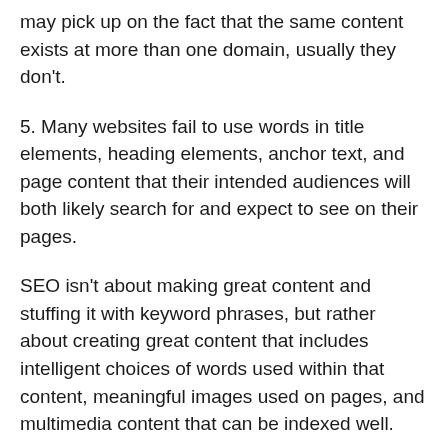may pick up on the fact that the same content exists at more than one domain, usually they don't.
5. Many websites fail to use words in title elements, heading elements, anchor text, and page content that their intended audiences will both likely search for and expect to see on their pages.
SEO isn't about making great content and stuffing it with keyword phrases, but rather about creating great content that includes intelligent choices of words used within that content, meaningful images used on pages, and multimedia content that can be indexed well.